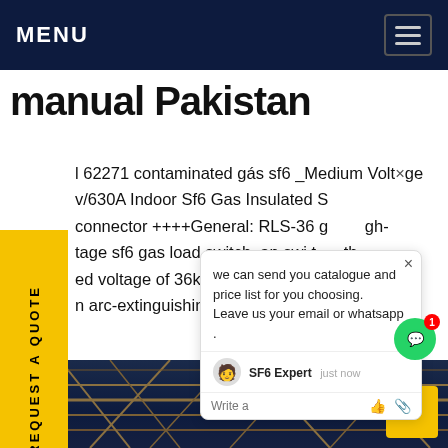MENU
manual Pakistan
l 62271 contaminated gás sf6 _Medium Voltage v/630A Indoor Sf6 Gas Insulated S connector ++++General: RLS-36 g gh- tage sf6 gas load switch, an swi to th ed voltage of 36kV/40.5kV, adop s ga n arc-extinguishingGet pric
we can send you catalogue and price list for you choosing. Leave us your email or whatsapp .
SF6 Expert   just now
Write a
[Figure (photo): Steel lattice structure photographed against a blue night sky, forming a web of metal beams and crossbars.]
REQUEST A QUOTE